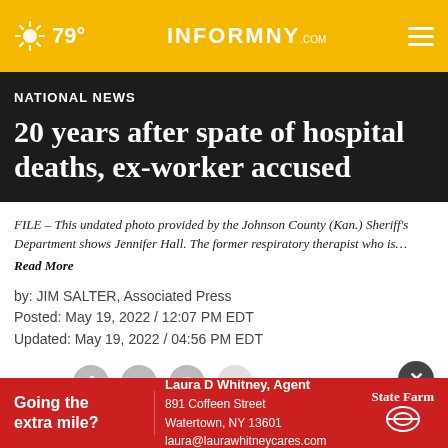79° INFORMNNY.com
NATIONAL NEWS
20 years after spate of hospital deaths, ex-worker accused
FILE – This undated photo provided by the Johnson County (Kan.) Sheriff's Department shows Jennifer Hall. The former respiratory therapist who is…
Read More
by: JIM SALTER, Associated Press
Posted: May 19, 2022 / 12:07 PM EDT
Updated: May 19, 2022 / 04:56 PM EDT
SHARE
[Figure (infographic): State Farm advertisement: Going the extra mile? Laura D Whitney, Agent, 891 Coffeen Street, Watertown, NY 13601, laura@laurawhitneycares.com]